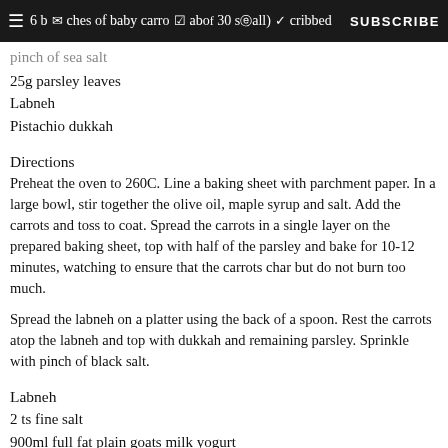6 bunches of baby carrots (about 30 small), scrubbed | SUBSCRIBE
pinch of sea salt
25g parsley leaves
Labneh
Pistachio dukkah
Directions
Preheat the oven to 260C. Line a baking sheet with parchment paper. In a large bowl, stir together the olive oil, maple syrup and salt. Add the carrots and toss to coat. Spread the carrots in a single layer on the prepared baking sheet, top with half of the parsley and bake for 10-12 minutes, watching to ensure that the carrots char but do not burn too much.
Spread the labneh on a platter using the back of a spoon. Rest the carrots atop the labneh and top with dukkah and remaining parsley. Sprinkle with pinch of black salt.
Labneh
2 ts fine salt
900ml full fat plain goats milk yogurt